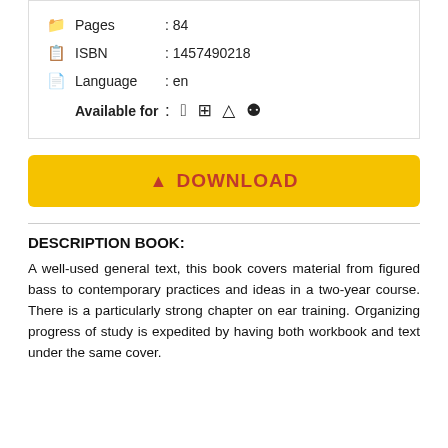Pages : 84
ISBN : 1457490218
Language : en
Available for : [Apple] [Windows] [Linux] [Android]
DOWNLOAD
DESCRIPTION BOOK:
A well-used general text, this book covers material from figured bass to contemporary practices and ideas in a two-year course. There is a particularly strong chapter on ear training. Organizing progress of study is expedited by having both workbook and text under the same cover.